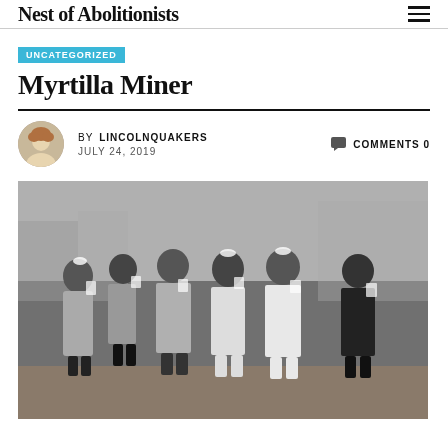Nest of Abolitionists
UNCATEGORIZED
Myrtilla Miner
BY LINCOLNQUAKERS  COMMENTS 0  JULY 24, 2019
[Figure (photo): Black and white historical photograph of a group of African American children standing outdoors, drinking from cups, dressed in early 20th century clothing.]